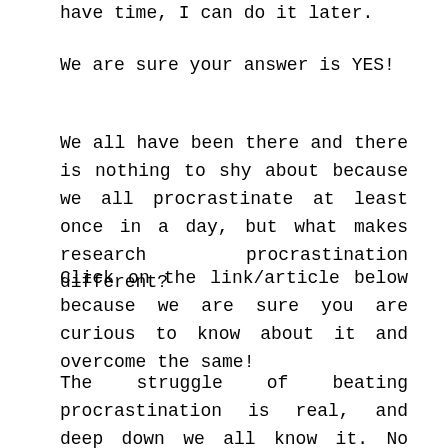have time, I can do it later.
We are sure your answer is YES!
We all have been there and there is nothing to shy about because we all procrastinate at least once in a day, but what makes research procrastination different?
Click on the link/article below because we are sure you are curious to know about it and overcome the same!
The struggle of beating procrastination is real, and deep down we all know it. No matter how many positive posts we like on Instagram or read them